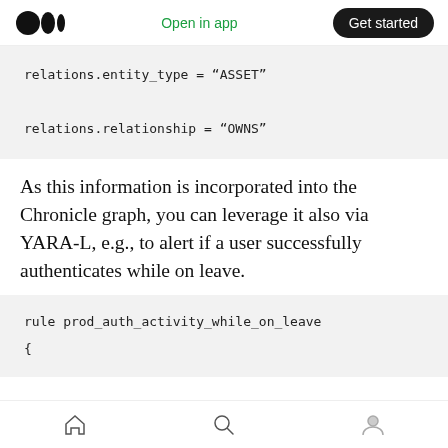Open in app | Get started
relations.entity_type = “ASSET”
relations.relationship = “OWNS”
As this information is incorporated into the Chronicle graph, you can leverage it also via YARA-L, e.g., to alert if a user successfully authenticates while on leave.
rule prod_auth_activity_while_on_leave
{
Home | Search | Profile